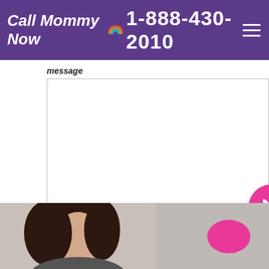Call Mommy Now 1-888-430-2010
message
[Figure (screenshot): Empty textarea form field with resize handle in bottom-right corner and a pink phone call floating action button]
[Figure (illustration): Pink rounded Submit button]
[Figure (photo): Partial photo of a dark-haired woman with a pink speech bubble chat icon in the bottom-right corner]